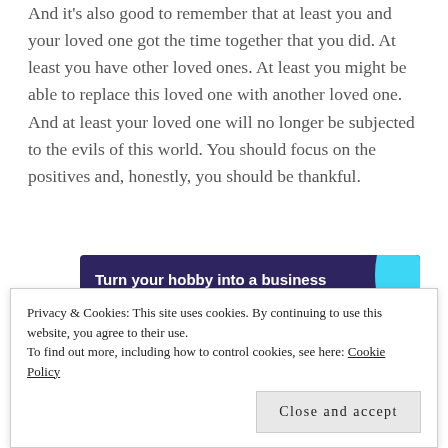And it's also good to remember that at least you and your loved one got the time together that you did. At least you have other loved ones. At least you might be able to replace this loved one with another loved one. And at least your loved one will no longer be subjected to the evils of this world. You should focus on the positives and, honestly, you should be thankful.
[Figure (infographic): Advertisement banner with dark purple background. Text reads 'Turn your hobby into a business in 8 steps' with a 'Start a new store' button. A cyan/light blue decorative curved graphic is on the right side.]
Privacy & Cookies: This site uses cookies. By continuing to use this website, you agree to their use.
To find out more, including how to control cookies, see here: Cookie Policy
Close and accept